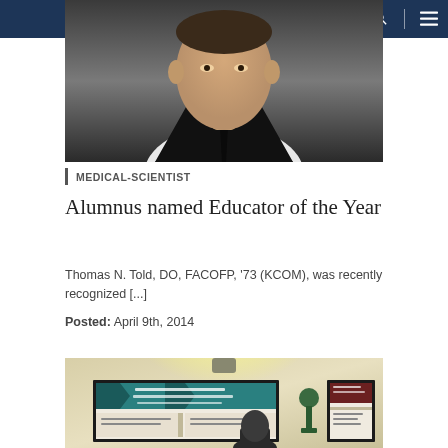Navigation bar with phone, location, search icons and menu
[Figure (photo): Portrait photo of a man in a dark suit and tie, cropped at shoulder level]
MEDICAL-SCIENTIST
Alumnus named Educator of the Year
Thomas N. Told, DO, FACOFP, ’73 (KCOM), was recently recognized [...]
Posted: April 9th, 2014
[Figure (photo): Photo of a person standing near award certificates mounted on a wall, with a lamp illuminating the background and a trophy visible]